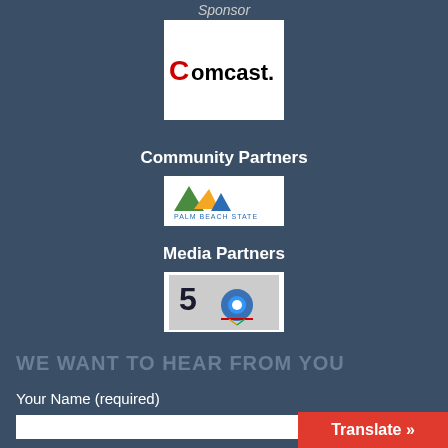Sponsor
[Figure (logo): Comcast logo — red C arc with 'comcast.' in black text on white background]
Community Partners
[Figure (logo): Palm Beach State College logo on white background]
Media Partners
[Figure (logo): NBC 5 news logo with peacock on white background]
WE WANT TO HEAR FROM YOU
Your Name (required)
Translate »